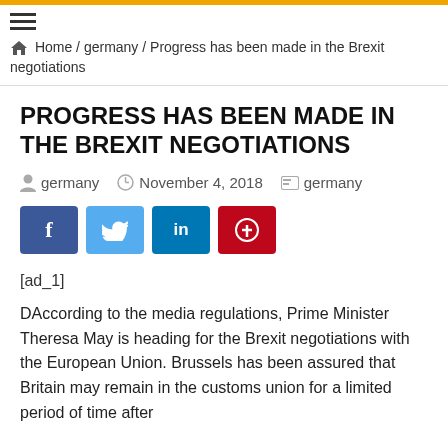☰ Home / germany / Progress has been made in the Brexit negotiations
PROGRESS HAS BEEN MADE IN THE BREXIT NEGOTIATIONS
germany   November 4, 2018   germany
[Figure (other): Social share buttons: Facebook (f), Twitter (bird icon), LinkedIn (in), Pinterest (p)]
[ad_1]
DAccording to the media regulations, Prime Minister Theresa May is heading for the Brexit negotiations with the European Union. Brussels has been assured that Britain may remain in the customs union for a limited period of time after